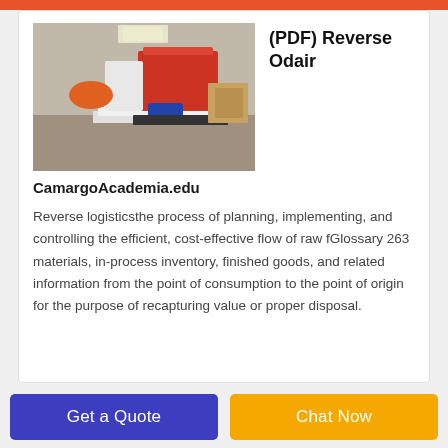[Figure (photo): Industrial machinery (shredder/grinder) in red and white with orange funnel attachment, positioned on a metal platform in an industrial warehouse setting.]
(PDF) Reverse Odair
CamargoAcademia.edu
Reverse logisticsthe process of planning, implementing, and controlling the efficient, cost-effective flow of raw fGlossary 263 materials, in-process inventory, finished goods, and related information from the point of consumption to the point of origin for the purpose of recapturing value or proper disposal.
Get a Quote | Chat Now